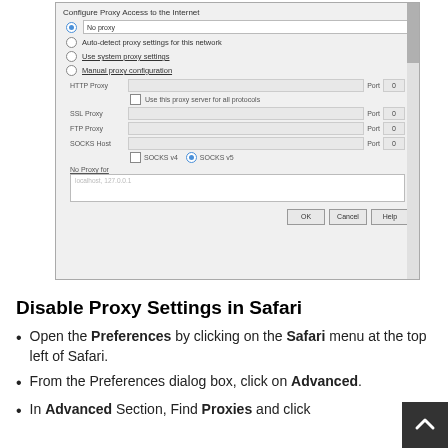[Figure (screenshot): Firefox proxy settings dialog showing 'Configure Proxy Access to the Internet' with options: No proxy (selected), Auto-detect proxy settings for this network, Use system proxy settings, Manual proxy configuration. Manual section shows HTTP Proxy, SSL Proxy, FTP Proxy, SOCKS Host fields each with Port 0. Checkbox for 'Use this proxy server for all protocols'. SOCKS v4 and SOCKS v5 radio buttons. No Proxy for field with localhost, 127.0.0.1 placeholder. OK, Cancel, Help buttons.]
Disable Proxy Settings in Safari
Open the Preferences by clicking on the Safari menu at the top left of Safari.
From the Preferences dialog box, click on Advanced.
In Advanced Section, Find Proxies and click